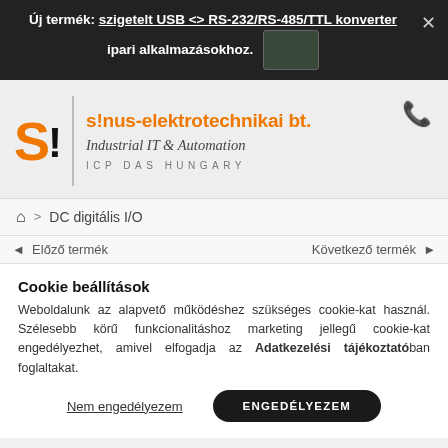Új termék: szigetelt USB <> RS-232/RS-485/TTL konverter ipari alkalmazásokhoz.
[Figure (logo): Sinus-elektrotechnikai bt. logo with orange S! mark, company name, Industrial IT & Automation subtitle, ICP DAS HUNGARY text]
DC digitális I/O
◄ Előző termék    Következő termék ►
Cookie beállítások
Weboldalunk az alapvető működéshez szükséges cookie-kat használ. Szélesebb körű funkcionalitáshoz marketing jellegű cookie-kat engedélyezhet, amivel elfogadja az Adatkezelési tájékoztatóban foglaltakat.
Nem engedélyezem    ENGEDÉLYEZEM